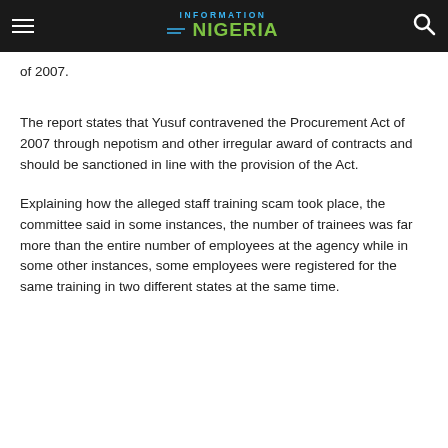Information Nigeria
of 2007.
The report states that Yusuf contravened the Procurement Act of 2007 through nepotism and other irregular award of contracts and should be sanctioned in line with the provision of the Act.
Explaining how the alleged staff training scam took place, the committee said in some instances, the number of trainees was far more than the entire number of employees at the agency while in some other instances, some employees were registered for the same training in two different states at the same time.